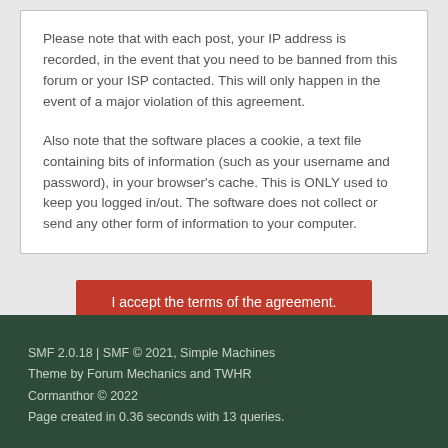Please note that with each post, your IP address is recorded, in the event that you need to be banned from this forum or your ISP contacted. This will only happen in the event of a major violation of this agreement.
Also note that the software places a cookie, a text file containing bits of information (such as your username and password), in your browser's cache. This is ONLY used to keep you logged in/out. The software does not collect or send any other form of information to your computer.
I accept the terms of the agreement.
SMF 2.0.18 | SMF © 2021, Simple Machines
Theme by Forum Mechanics and TWHR
Cormanthor © 2022
Page created in 0.36 seconds with 13 queries.